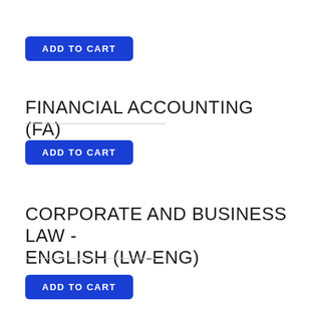ADD TO CART
FINANCIAL ACCOUNTING (FA)
ADD TO CART
CORPORATE AND BUSINESS LAW - ENGLISH (LW-ENG)
ADD TO CART